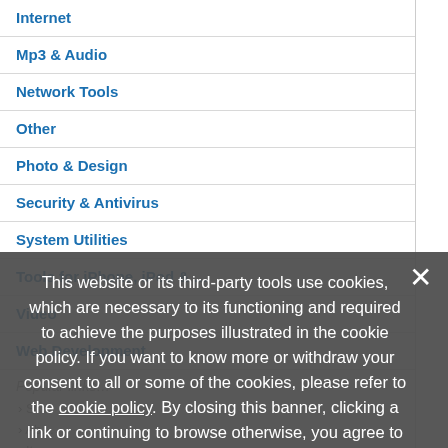Internet
Mp3 & Audio
Network Tools
Other
Photo & Design
Security & Antivirus
System Utilities
Tools for iPhone, iPod & …
Video
Web Development
Popular links…
Updated: July 7th 2011
FireStones  1.2  Free
This game likes color tetris but has some…
Updated: October 13th 2003
The Raxxla Bugs  2.12  Free to try
Updated: August 8th 2010
Puzzle Player  1.0d  Free to try
Solve crossword and word search puzzle…
This website or its third-party tools use cookies, which are necessary to its functioning and required to achieve the purposes illustrated in the cookie policy. If you want to know more or withdraw your consent to all or some of the cookies, please refer to the cookie policy. By closing this banner, clicking a link or continuing to browse otherwise, you agree to the use of cookies.